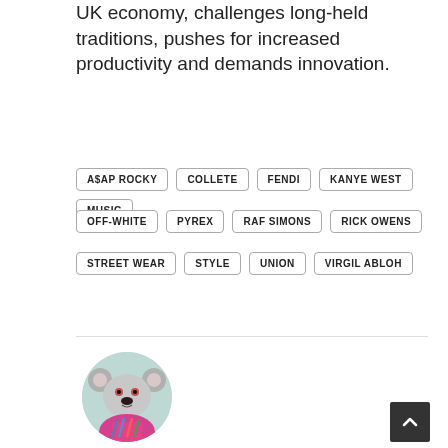UK economy, challenges long-held traditions, pushes for increased productivity and demands innovation.
A$AP ROCKY
COLLETE
FENDI
KANYE WEST
MUSIC
OFF-WHITE
PYREX
RAF SIMONS
RICK OWENS
STREET WEAR
STYLE
UNION
VIRGIL ABLOH
[Figure (illustration): Circular avatar image of a koala wearing a colorful shirt, set against a light teal/mint background circle]